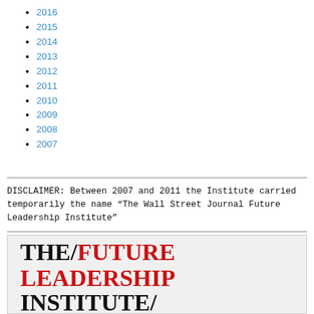2016
2015
2014
2013
2012
2011
2010
2009
2008
2007
DISCLAIMER: Between 2007 and 2011 the Institute carried temporarily the name “The Wall Street Journal Future Leadership Institute”
[Figure (logo): The Future Leadership Institute logo with text: THE/FUTURE LEADERSHIP INSTITUTE/ and below THE WALL STREET JOURNAL]